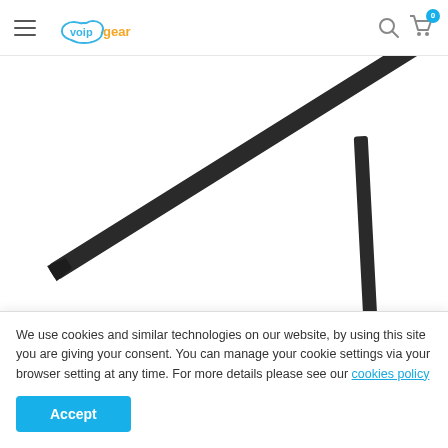voip gear — navigation header with search and cart
[Figure (photo): Two black antenna/rod product images shown at an angle against white background]
Click on image to zoom
[Figure (logo): Brand thumbnail row with arc logo (blue border), Fanvil logo in red, and a dark video thumbnail with play button]
We use cookies and similar technologies on our website, by using this site you are giving your consent. You can manage your cookie settings via your browser setting at any time. For more details please see our cookies policy
Accept